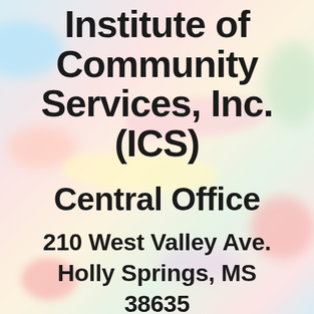Institute of Community Services, Inc. (ICS)
Central Office
210 West Valley Ave.
Holly Springs, MS
38635